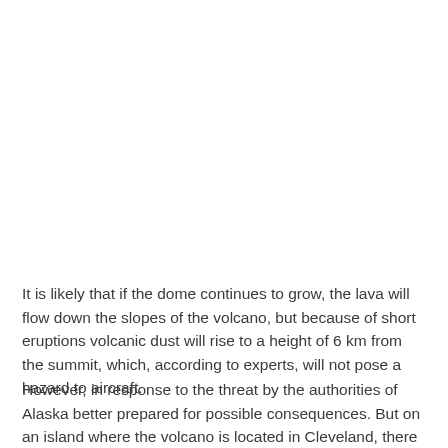It is likely that if the dome continues to grow, the lava will flow down the slopes of the volcano, but because of short eruptions volcanic dust will rise to a height of 6 km from the summit, which, according to experts, will not pose a hazard to aircraft.
However, in response to the threat by the authorities of Alaska better prepared for possible consequences. But on an island where the volcano is located in Cleveland, there is no network for monitoring seismic activity, so the experts can